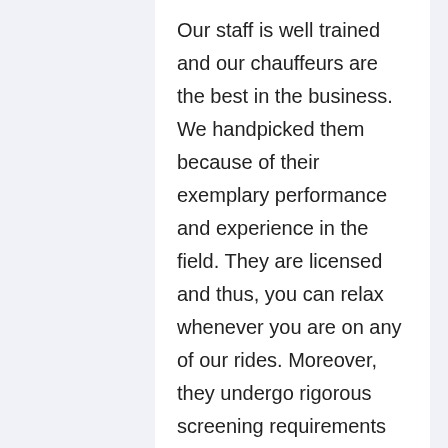Our staff is well trained and our chauffeurs are the best in the business. We handpicked them because of their exemplary performance and experience in the field. They are licensed and thus, you can relax whenever you are on any of our rides. Moreover, they undergo rigorous screening requirements so that we can be sure that we are offering our customers the crème de la crème. Our limousines will arrive at the stipulated time that you have told us. We will not be late as we want you